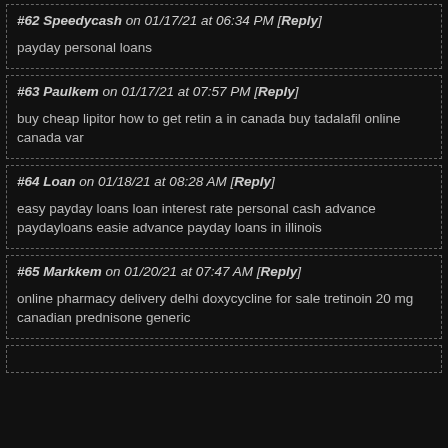#62 Speedycash on 01/17/21 at 06:34 PM [Reply]
payday personal loans
#63 Paulkem on 01/17/21 at 07:57 PM [Reply]
buy cheap lipitor how to get retin a in canada buy tadalafil online canada var
#64 Loan on 01/18/21 at 08:28 AM [Reply]
easy payday loans loan interest rate personal cash advance paydayloans easie advance payday loans in illinois
#65 Markkem on 01/20/21 at 07:47 AM [Reply]
online pharmacy delivery delhi doxycycline for sale tretinoin 20 mg canadian prednisone generic